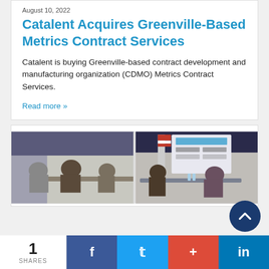August 10, 2022
Catalent Acquires Greenville-Based Metrics Contract Services
Catalent is buying Greenville-based contract development and manufacturing organization (CDMO) Metrics Contract Services.
Read more »
[Figure (photo): Photo showing a meeting room with people seated at tables. Left side shows a group in conversation; right side shows a projection screen with logos and two people at a table. An American flag is visible in the center background.]
1 SHARES | Facebook | Twitter | + | in